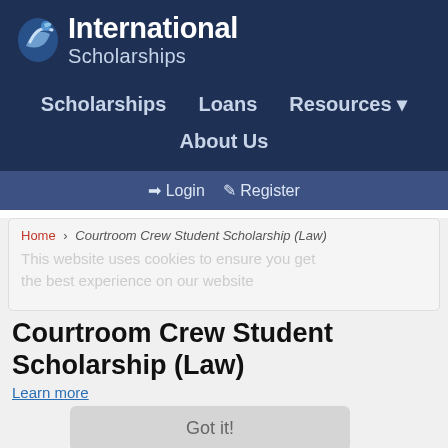[Figure (logo): eInternational Scholarships logo with stylized 'e' icon in blue/silver swirl]
Scholarships   Loans   Resources ▼   About Us
Login   Register
Home > Courtroom Crew Student Scholarship (Law)
This website uses cookies to ensure you get the best experience on our website
Learn more
Courtroom Crew Student Scholarship (Law)
Got it!
Dordulian Law Group
Description